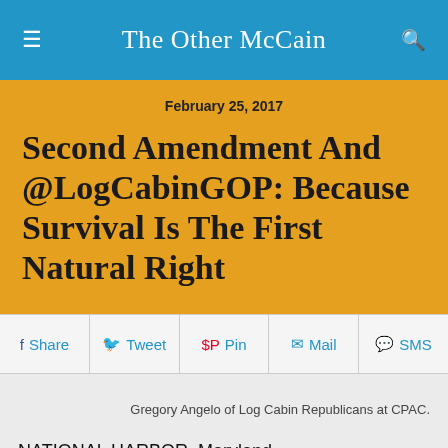The Other McCain
February 25, 2017
Second Amendment And @LogCabinGOP: Because Survival Is The First Natural Right
Share   Tweet   Pin   Mail   SMS
Gregory Angelo of Log Cabin Republicans at CPAC.
NATIONAL HARBOR, Maryland
An armed society is a polite society, as Robert Heinlein